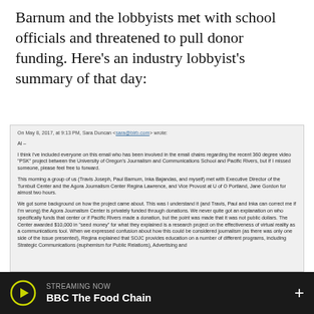Barnum and the lobbyists met with school officials and threatened to pull donor funding. Here's an industry lobbyist's summary of that day:
[Figure (screenshot): A blurred email screenshot showing an email from Sara Duncan dated May 8, 2017 at 9:13 PM, addressed to 'Al', discussing a meeting between Travis Joseph, Paul Barnum, Inka Bajandas, and the author with Executive Director of the Turnbull Center and the Agora Journalism Center Regina Lawrence, and Vice Provost at U of O Portland, Jane Gordon for almost two hours. The email discusses background on the project, funding through donations, and a $10,000 seed money award for a research project on the effectiveness of virtual reality as a communications tool, and Regina explaining that SOJC provides education on a number of different programs.]
STREAMING NOW
BBC The Food Chain